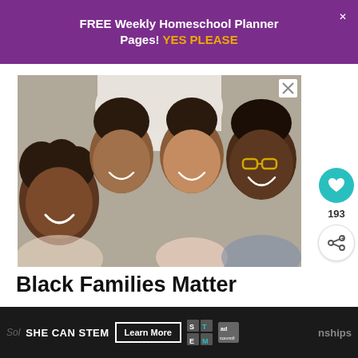FREE Weekly Homeschool Planner Pages! YES PLEASE
[Figure (photo): Overhead view of a Black family of four (mother and three children) lying on a bed, smiling up at the camera]
Black Families Matter
WHAT'S NEXT → 9 Flexible Work-at-Ho...
SHE CAN STEM Learn More